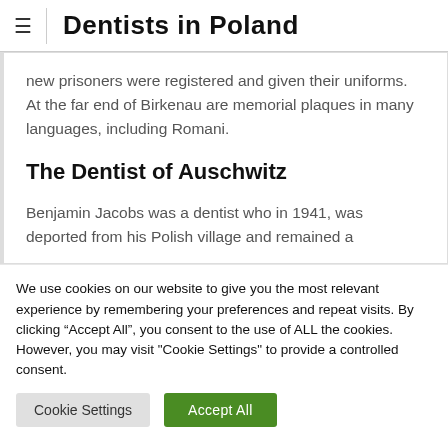Dentists in Poland
new prisoners were registered and given their uniforms. At the far end of Birkenau are memorial plaques in many languages, including Romani.
The Dentist of Auschwitz
Benjamin Jacobs was a dentist who in 1941, was deported from his Polish village and remained a
We use cookies on our website to give you the most relevant experience by remembering your preferences and repeat visits. By clicking "Accept All", you consent to the use of ALL the cookies. However, you may visit "Cookie Settings" to provide a controlled consent.